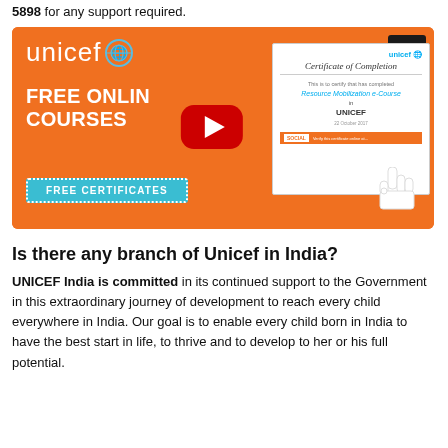5898 for any support required.
[Figure (screenshot): UNICEF Free Online Courses promotional image with YouTube play button overlay, showing a Certificate of Completion for Resource Mobilization e-Course, with FREE ONLINE COURSES and FREE CERTIFICATES text on orange background.]
Is there any branch of Unicef in India?
UNICEF India is committed in its continued support to the Government in this extraordinary journey of development to reach every child everywhere in India. Our goal is to enable every child born in India to have the best start in life, to thrive and to develop to her or his full potential.